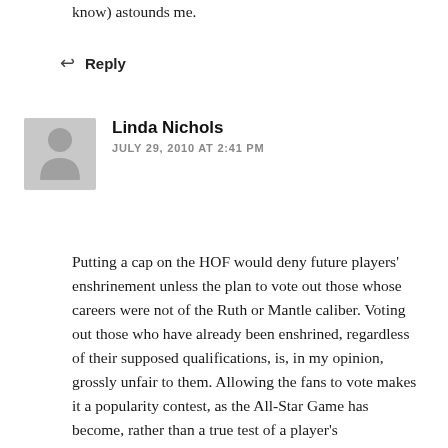know) astounds me.
↩ Reply
[Figure (other): Default user avatar - grey silhouette of a person on grey background]
Linda Nichols
JULY 29, 2010 AT 2:41 PM
Putting a cap on the HOF would deny future players' enshrinement unless the plan to vote out those whose careers were not of the Ruth or Mantle caliber. Voting out those who have already been enshrined, regardless of their supposed qualifications, is, in my opinion, grossly unfair to them. Allowing the fans to vote makes it a popularity contest, as the All-Star Game has become, rather than a true test of a player's qualifications for the HOF. What's wrong with allowing things to go along as they are now?